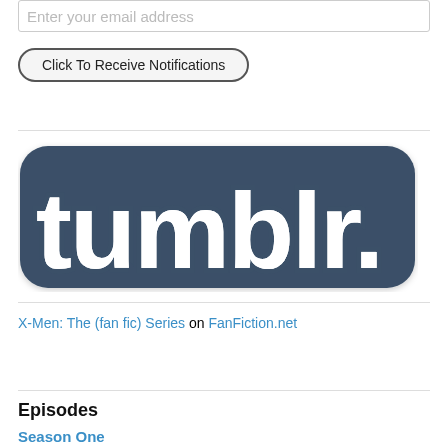Enter your email address
Click To Receive Notifications
[Figure (logo): Tumblr logo — bold rounded white letters spelling 'tumblr.' on a dark blue-grey background with rounded rectangular outline]
X-Men: The (fan fic) Series on FanFiction.net
Episodes
Season One